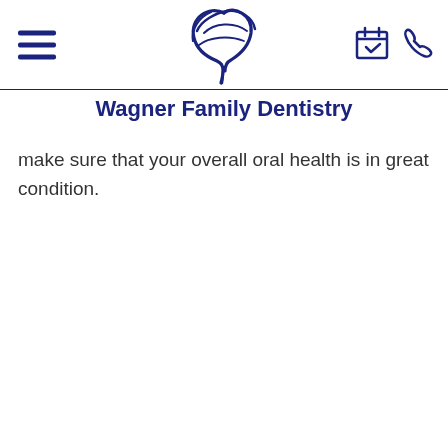[Figure (logo): Wagner Family Dentistry logo: stylized bird/tooth swoosh in navy blue]
Wagner Family Dentistry
make sure that your overall oral health is in great condition.